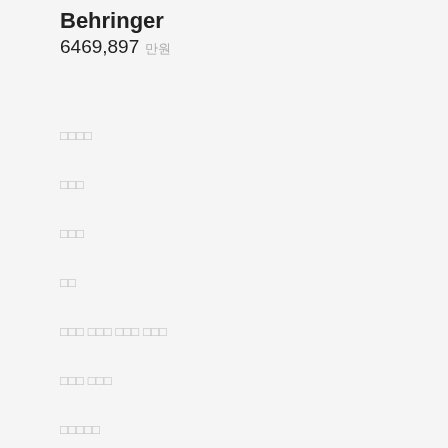Behringer
6469,897 만원
□□□□
□□□
□□□
□□
□□□ □□□ □□□ □□□
□□□ □□□
□□□□□
□□□ □□□